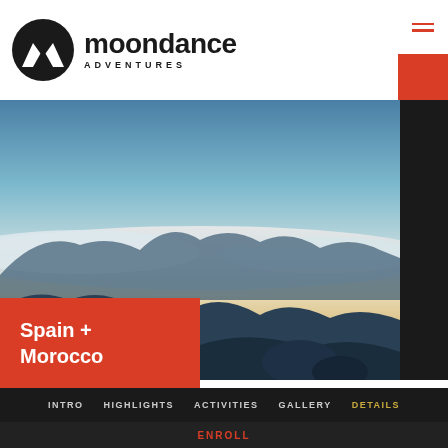[Figure (logo): Moondance Adventures logo with mountain icon and text 'moondance ADVENTURES']
[Figure (photo): Mountain landscape at dusk with clouds below peaks and silhouettes of people on ridge. Spain + Morocco trip hero image.]
Spain + Morocco
TRIP FINDER
INTRO   HIGHLIGHTS   ACTIVITIES   GALLERY   DETAILS
ENROLL